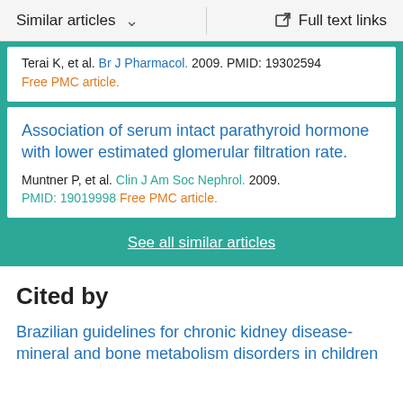Similar articles  ∨   Full text links
Terai K, et al. Br J Pharmacol. 2009. PMID: 19302594
Free PMC article.
Association of serum intact parathyroid hormone with lower estimated glomerular filtration rate.
Muntner P, et al. Clin J Am Soc Nephrol. 2009.
PMID: 19019998 Free PMC article.
See all similar articles
Cited by
Brazilian guidelines for chronic kidney disease-mineral and bone metabolism disorders in children